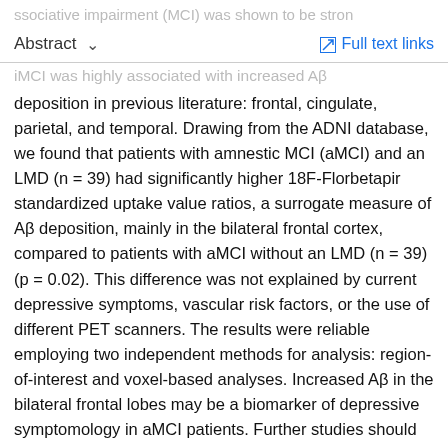Abstract   Full text links
deposition in previous literature: frontal, cingulate, parietal, and temporal. Drawing from the ADNI database, we found that patients with amnestic MCI (aMCI) and an LMD (n = 39) had significantly higher 18F-Florbetapir standardized uptake value ratios, a surrogate measure of Aβ deposition, mainly in the bilateral frontal cortex, compared to patients with aMCI without an LMD (n = 39) (p = 0.02). This difference was not explained by current depressive symptoms, vascular risk factors, or the use of different PET scanners. The results were reliable employing two independent methods for analysis: region-of-interest and voxel-based analyses. Increased Aβ in the bilateral frontal lobes may be a biomarker of depressive symptomology in aMCI patients. Further studies should test whether higher Aβ predicts future conversion into AD in this population.
Keywords / Abstract / Section...